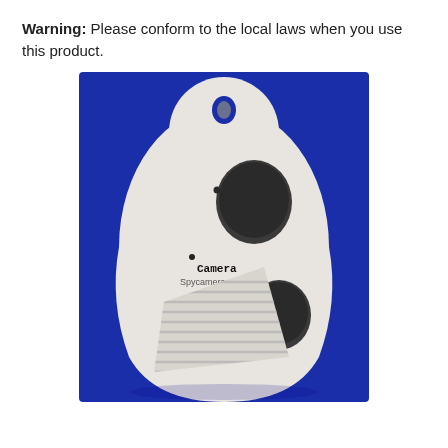Warning: Please conform to the local laws when you use this product.
[Figure (photo): A white teardrop-shaped spy camera device with two dark rounded buttons/knobs and a ribbed speaker grille on the lower portion, with a small camera lens visible. The device is photographed against a blue background. A watermark reads 'Camera Spycamerasmall.com'.]